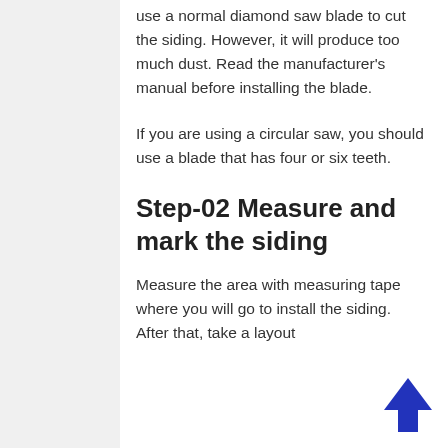use a normal diamond saw blade to cut the siding. However, it will produce too much dust. Read the manufacturer's manual before installing the blade.
If you are using a circular saw, you should use a blade that has four or six teeth.
Step-02 Measure and mark the siding
Measure the area with measuring tape where you will go to install the siding. After that, take a layout